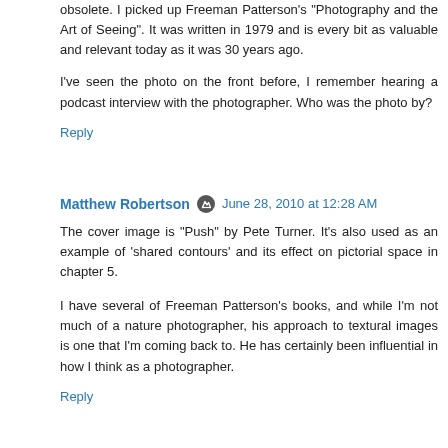obsolete. I picked up Freeman Patterson's "Photography and the Art of Seeing". It was written in 1979 and is every bit as valuable and relevant today as it was 30 years ago.
I've seen the photo on the front before, I remember hearing a podcast interview with the photographer. Who was the photo by?
Reply
Matthew Robertson  June 28, 2010 at 12:28 AM
The cover image is "Push" by Pete Turner. It's also used as an example of 'shared contours' and its effect on pictorial space in chapter 5.
I have several of Freeman Patterson's books, and while I'm not much of a nature photographer, his approach to textural images is one that I'm coming back to. He has certainly been influential in how I think as a photographer.
Reply